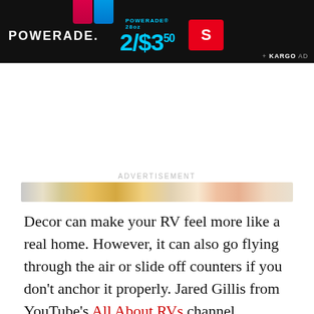[Figure (other): Powerade advertisement banner with pink and blue bottles, price 2/$3.50, Speedway logo, and KARGO AD label]
ADVERTISEMENT
[Figure (photo): Horizontal strip of food images showing vegetables and produce on a counter]
Decor can make your RV feel more like a real home. However, it can also go flying through the air or slide off counters if you don't anchor it properly. Jared Gillis from YouTube's All About RVs channel recommends securing your decor with Command hooks and strips, Velcro, heavy-duty double-sided Nano tape, museum putty, super strong neodymium magnets, and grippy shelf liner.